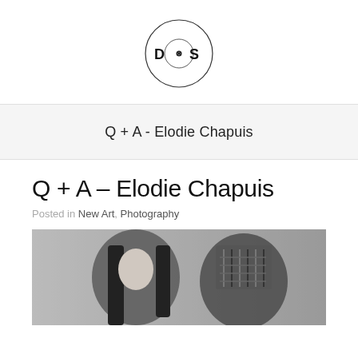[Figure (logo): DOS record label logo — circle with vinyl record graphic and letters D, O, S]
Q + A - Elodie Chapuis
Q + A – Elodie Chapuis
Posted in New Art, Photography
[Figure (photo): Black and white photograph of two people — one with long dark hair, one with a woven/knit hat covering face]